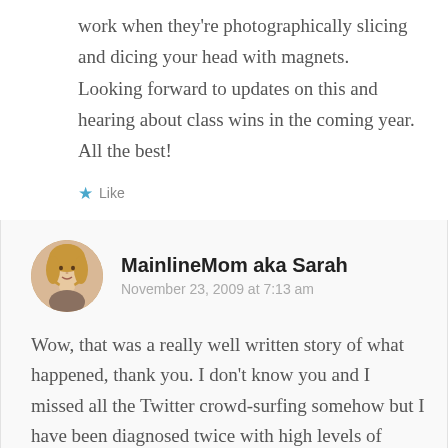work when they're photographically slicing and dicing your head with magnets.
Looking forward to updates on this and hearing about class wins in the coming year.
All the best!
★ Like
MainlineMom aka Sarah
November 23, 2009 at 7:13 am
Wow, that was a really well written story of what happened, thank you. I don't know you and I missed all the Twitter crowd-surfing somehow but I have been diagnosed twice with high levels of